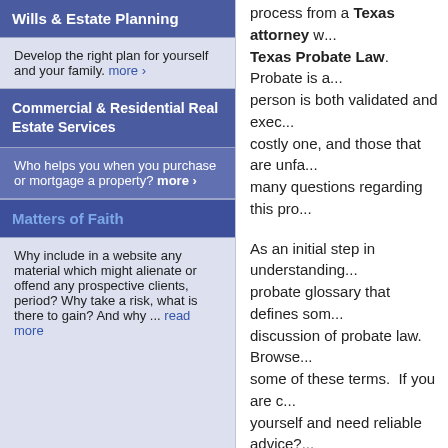Wills & Estate Planning
Develop the right plan for yourself and your family. more ›
Commercial & Residential Real Estate Services
Who helps you when you purchase or mortgage a property? more ›
Matters of Faith
Why include in a website any material which might alienate or offend any prospective clients, period? Why take a risk, what is there to gain? And why ... read more
process from a Texas attorney w... Texas Probate Law. Probate is a... person is both validated and exec... costly one, and those that are unfa... many questions regarding this pro...
As an initial step in understanding... probate glossary that defines som... discussion of probate law. Browse... some of these terms. If you are c... yourself and need reliable advice?... Please contact me for more help.